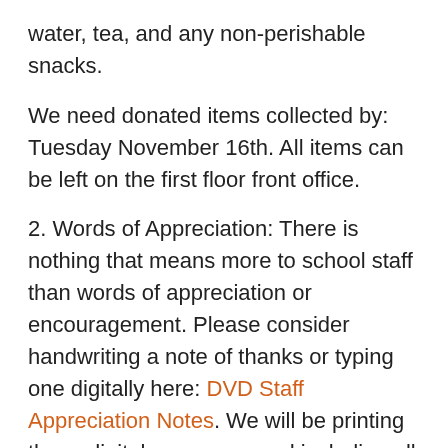water, tea, and any non-perishable snacks.
We need donated items collected by: Tuesday November 16th. All items can be left on the first floor front office.
2. Words of Appreciation: There is nothing that means more to school staff than words of appreciation or encouragement. Please consider handwriting a note of thanks or typing one digitally here: DVD Staff Appreciation Notes. We will be printing these digital messages and including all words of appreciation in the baskets. Handwritten notes can be dropped off by Tuesday November 16.
End of Semester Calendar:
Lastly, a note about Exhibition: One of Da Vinci's